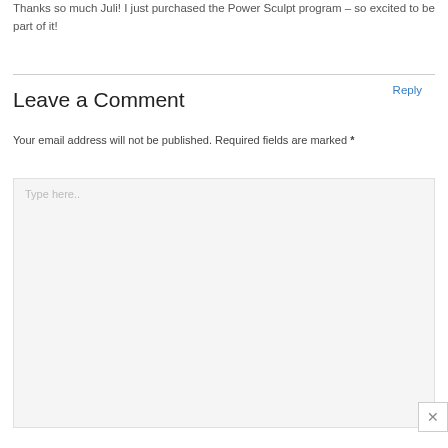Thanks so much Juli! I just purchased the Power Sculpt program – so excited to be part of it!
Reply
Leave a Comment
Your email address will not be published. Required fields are marked *
Type here..